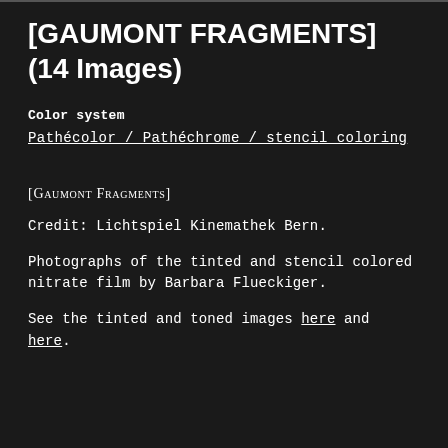[GAUMONT FRAGMENTS]
(14 Images)
Color system
Pathécolor / Pathéchrome / stencil coloring
[Gaumont Fragments]
Credit: Lichtspiel Kinemathek Bern.
Photographs of the tinted and stencil colored nitrate film by Barbara Flueckiger.
See the tinted and toned images here and here.